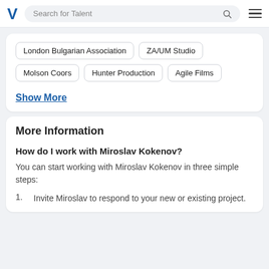V  Search for Talent
London Bulgarian Association
ZA/UM Studio
Molson Coors
Hunter Production
Agile Films
Show More
More Information
How do I work with Miroslav Kokenov?
You can start working with Miroslav Kokenov in three simple steps:
1. Invite Miroslav to respond to your new or existing project.